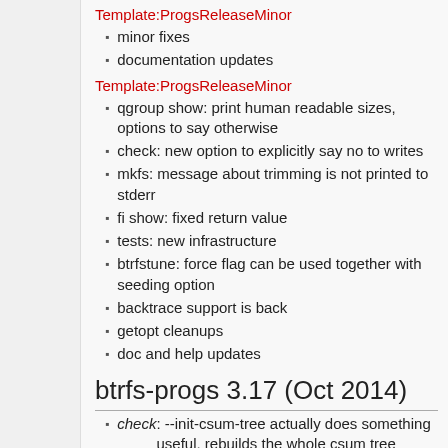Template:ProgsReleaseMinor
minor fixes
documentation updates
Template:ProgsReleaseMinor
qgroup show: print human readable sizes, options to say otherwise
check: new option to explicitly say no to writes
mkfs: message about trimming is not printed to stderr
fi show: fixed return value
tests: new infrastructure
btrfstune: force flag can be used together with seeding option
backtrace support is back
getopt cleanups
doc and help updates
btrfs-progs 3.17 (Oct 2014)
check: --init-csum-tree actually does something useful, rebuilds the whole csum tree